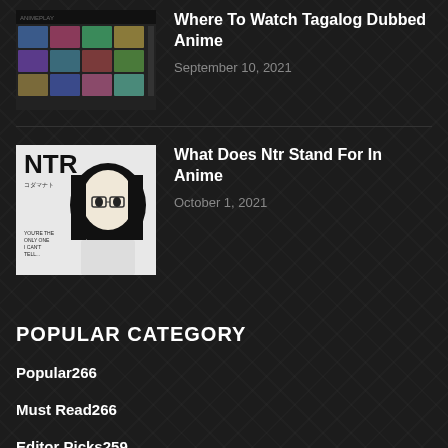[Figure (screenshot): Screenshot of an anime streaming website showing grid of anime thumbnails]
Where To Watch Tagalog Dubbed Anime
September 10, 2021
[Figure (illustration): Black and white manga-style illustration of a girl with glasses and long dark hair, with NTR text visible]
What Does Ntr Stand For In Anime
October 1, 2021
POPULAR CATEGORY
Popular266
Must Read266
Editor Picks259
Exclusive255
News244